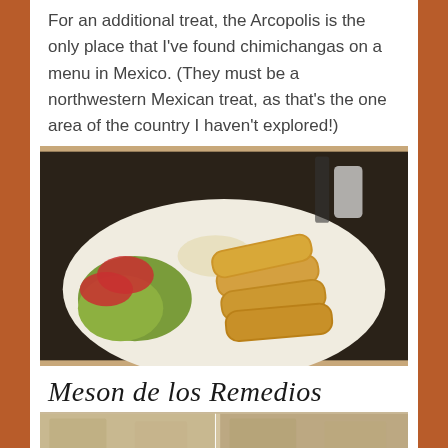For an additional treat, the Arcopolis is the only place that I've found chimichangas on a menu in Mexico. (They must be a northwestern Mexican treat, as that's the one area of the country I haven't explored!)
[Figure (photo): A white plate with several fried chimichangas alongside a salad of lettuce and tomato slices, with rice visible in the background.]
Meson de los Remedios
[Figure (photo): Partial view of what appears to be a restaurant interior or exterior, partially cropped at the bottom of the page.]